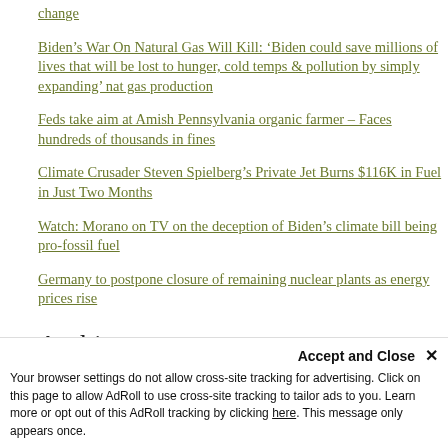change
Biden’s War On Natural Gas Will Kill: ‘Biden could save millions of lives that will be lost to hunger, cold temps & pollution by simply expanding’ nat gas production
Feds take aim at Amish Pennsylvania organic farmer – Faces hundreds of thousands in fines
Climate Crusader Steven Spielberg’s Private Jet Burns $116K in Fuel in Just Two Months
Watch: Morano on TV on the deception of Biden’s climate bill being pro-fossil fuel
Germany to postpone closure of remaining nuclear plants as energy prices rise
Archives
Select Month
Accept and Close ×
Your browser settings do not allow cross-site tracking for advertising. Click on this page to allow AdRoll to use cross-site tracking to tailor ads to you. Learn more or opt out of this AdRoll tracking by clicking here. This message only appears once.